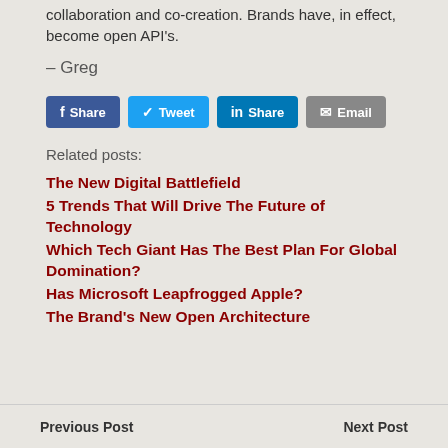collaboration and co-creation. Brands have, in effect, become open API's.
– Greg
Share  Tweet  Share  Email
Related posts:
The New Digital Battlefield
5 Trends That Will Drive The Future of Technology
Which Tech Giant Has The Best Plan For Global Domination?
Has Microsoft Leapfrogged Apple?
The Brand's New Open Architecture
Previous Post    Next Post